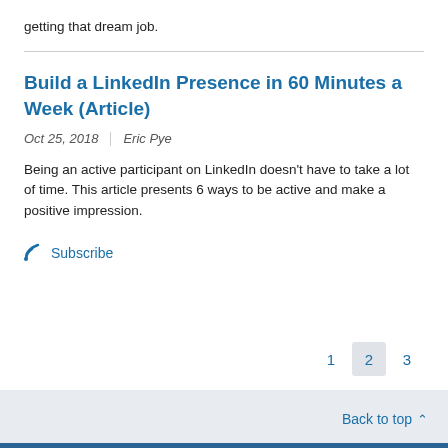getting that dream job.
Build a LinkedIn Presence in 60 Minutes a Week (Article)
Oct 25, 2018 | Eric Pye
Being an active participant on LinkedIn doesn't have to take a lot of time. This article presents 6 ways to be active and make a positive impression.
Subscribe
1 2 3
Back to top